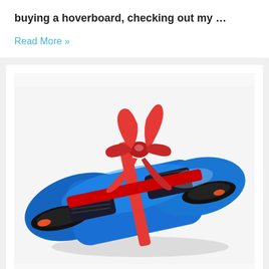buying a hoverboard, checking out my …
Read More »
[Figure (photo): A blue hoverboard (self-balancing scooter) wrapped with a red ribbon and bow, presented as a gift, on a white background.]
»